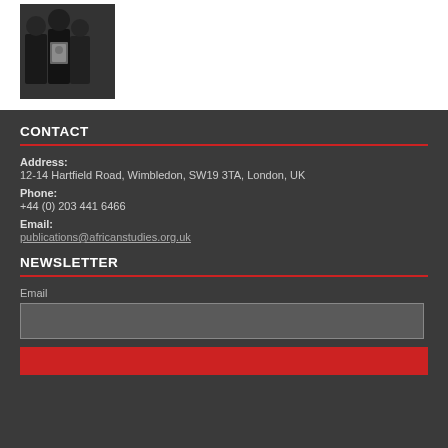[Figure (photo): People standing together, one holding a portrait photo, black and white photograph]
CONTACT
Address:
12-14 Hartfield Road, Wimbledon, SW19 3TA, London, UK
Phone:
+44 (0) 203 441 6466
Email:
publications@africanstudies.org.uk
NEWSLETTER
Email
[email input field]
[subscribe button]